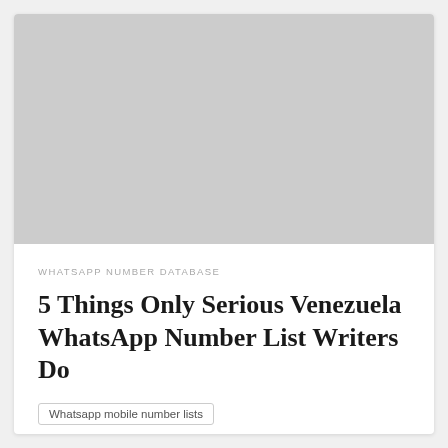[Figure (photo): Large light gray rectangular placeholder image at the top of the card]
WHATSAPP NUMBER DATABASE
5 Things Only Serious Venezuela WhatsApp Number List Writers Do
Whatsapp mobile number lists